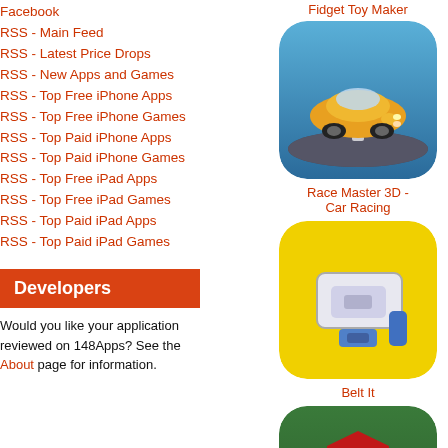Facebook
RSS - Main Feed
RSS - Latest Price Drops
RSS - New Apps and Games
RSS - Top Free iPhone Apps
RSS - Top Free iPhone Games
RSS - Top Paid iPhone Apps
RSS - Top Paid iPhone Games
RSS - Top Free iPad Apps
RSS - Top Free iPad Games
RSS - Top Paid iPad Apps
RSS - Top Paid iPad Games
Developers
Would you like your application reviewed on 148Apps? See the About page for information.
[Figure (screenshot): Race Master 3D - Car Racing app icon: orange/yellow sports car on dark background]
Race Master 3D - Car Racing
[Figure (screenshot): Belt It app icon: yellow background with belt buckle illustration]
Belt It
[Figure (screenshot): NFL Clash app icon: green football field background with NFL Clash logo]
NFL Clash
[Figure (screenshot): Tubi - Watch Movies app icon: black background with tubi logo in orange and pink gradient]
Tubi - Watch Movies